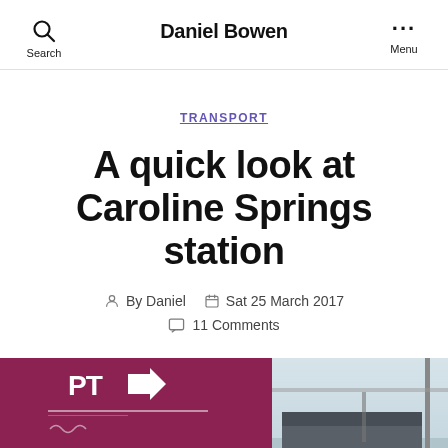Daniel Bowen
TRANSPORT
A quick look at Caroline Springs station
By Daniel  Sat 25 March 2017  11 Comments
[Figure (photo): A PT (Public Transport Victoria) sign showing 'Caroline Springs' station branding in dark red/maroon, alongside a photo of a building/station structure under a cloudy sky]